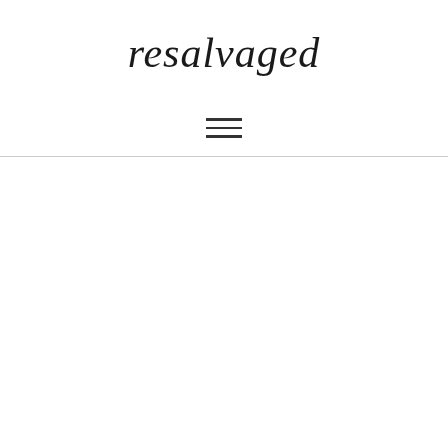resalvaged
[Figure (other): Hamburger menu icon consisting of three horizontal lines]